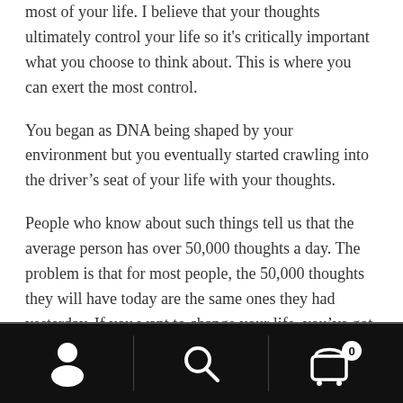most of your life. I believe that your thoughts ultimately control your life so it's critically important what you choose to think about. This is where you can exert the most control.
You began as DNA being shaped by your environment but you eventually started crawling into the driver's seat of your life with your thoughts.
People who know about such things tell us that the average person has over 50,000 thoughts a day. The problem is that for most people, the 50,000 thoughts they will have today are the same ones they had yesterday. If you want to change your life, you've got to change your thoughts.
[Figure (other): Mobile app navigation bar with three icons: user/profile icon on left, search/magnifying glass icon in center, and shopping cart icon with badge showing '0' on right. Black background.]